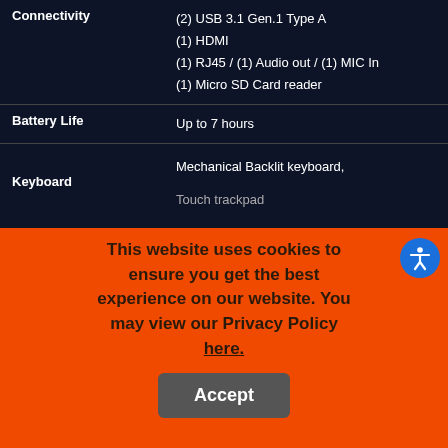| Feature | Details |
| --- | --- |
| Connectivity | (2) USB 3.1 Gen.1 Type A
(1) HDMI
(1) RJ45 / (1) Audio out / (1) MIC In
(1) Micro SD Card reader |
| Battery Life | Up to 7 hours |
| Keyboard | Mechanical Backlit keyboard,
Touch trackpad |
This website uses cookies to ensure you get the best experience on our website. You may view our Privacy Policy here.
Accept